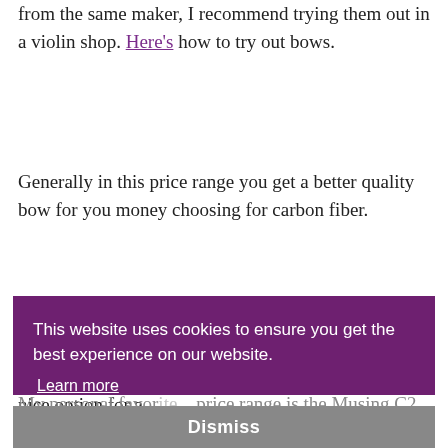from the same maker, I recommend trying them out in a violin shop. Here's how to try out bows.
Generally in this price range you get a better quality bow for you money choosing for carbon fiber.
In carbon bows there's enough to choose from in this price range. The CodaBow Diamond NX is a very nice option for a
This website uses cookies to ensure you get the best experience on our website. Learn more
Dismiss
My personal favo... price range is the Musing C2. It's easy to handle, makes a